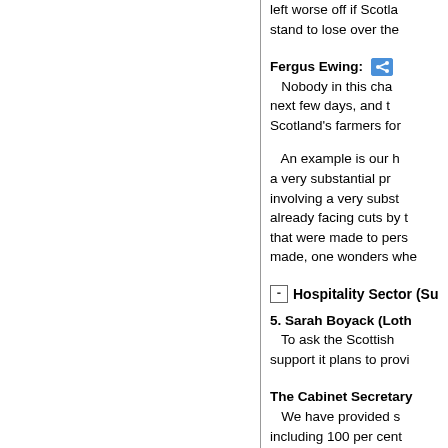left worse off if Scotla... stand to lose over the...
Fergus Ewing: Nobody in this cha... next few days, and t... Scotland's farmers for...
An example is our h... a very substantial pr... involving a very subst... already facing cuts by t... that were made to pers... made, one wonders whe...
Hospitality Sector (Sup...
5. Sarah Boyack (Loth... To ask the Scottish ... support it plans to provi...
The Cabinet Secretary... We have provided s... including 100 per cent... intervals across the diffe... billion.